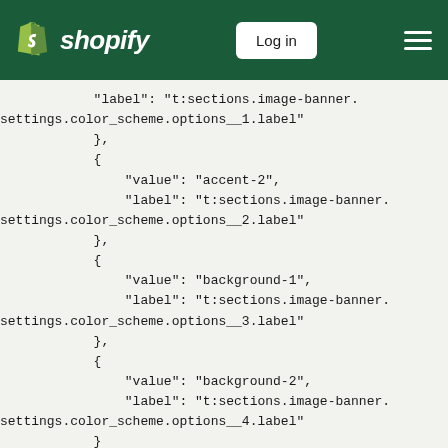Shopify Log in
"label": "t:sections.image-banner.
settings.color_scheme.options__1.label"
            },
            {
                "value": "accent-2",
                "label": "t:sections.image-banner.
settings.color_scheme.options__2.label"
            },
            {
                "value": "background-1",
                "label": "t:sections.image-banner.
settings.color_scheme.options__3.label"
            },
            {
                "value": "background-2",
                "label": "t:sections.image-banner.
settings.color_scheme.options__4.label"
            }